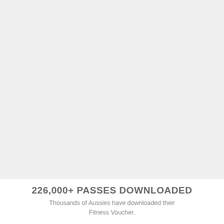[Figure (other): Large light grey rectangular image placeholder area occupying the upper portion of the page]
226,000+ PASSES DOWNLOADED
Thousands of Aussies have downloaded their Fitness Voucher.